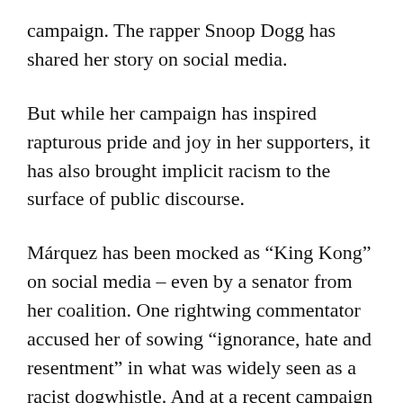campaign. The rapper Snoop Dogg has shared her story on social media.
But while her campaign has inspired rapturous pride and joy in her supporters, it has also brought implicit racism to the surface of public discourse.
Márquez has been mocked as “King Kong” on social media – even by a senator from her coalition. One rightwing commentator accused her of sowing “ignorance, hate and resentment” in what was widely seen as a racist dogwhistle. And at a recent campaign in Bogotá, a laser-pen was shone on her chest in what many saw as a thinly veiled threat of